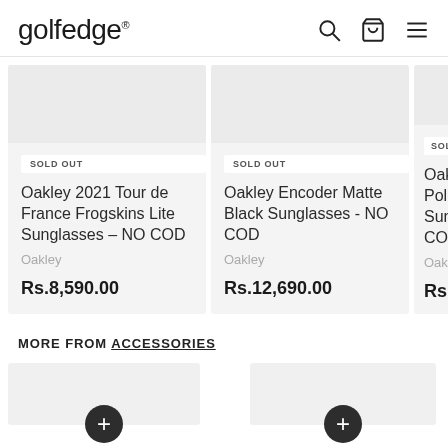golfedge
SOLD OUT
Oakley 2021 Tour de France Frogskins Lite Sunglasses – NO COD
Oakley
Rs.8,590.00
SOLD OUT
Oakley Encoder Matte Black Sunglasses - NO COD
Oakley
Rs.12,690.00
SOLD O...
Oakle...
Polish...
Sungl...
COD
Oakley
Rs.13...
MORE FROM ACCESSORIES